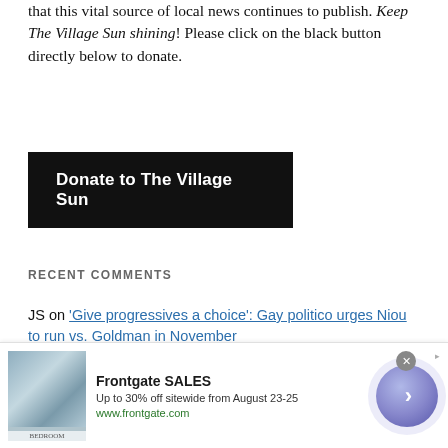that this vital source of local news continues to publish. Keep The Village Sun shining! Please click on the black button directly below to donate.
[Figure (other): Black donate button with white bold text reading 'Donate to The Village Sun']
RECENT COMMENTS
JS on 'Give progressives a choice': Gay politico urges Niou to run vs. Goldman in November
WG on 'Give progressives a choice': Gay politico urges Niou to run vs. Goldman in November
duchessofnyc on 'Give progressives a choice': Gay politico urges Niou to run vs. Goldman in November
[Figure (advertisement): Frontgate SALES ad banner. Up to 30% off sitewide from August 23-25. www.frontgate.com. Shows bedroom image on left, navigation arrow circle on right.]